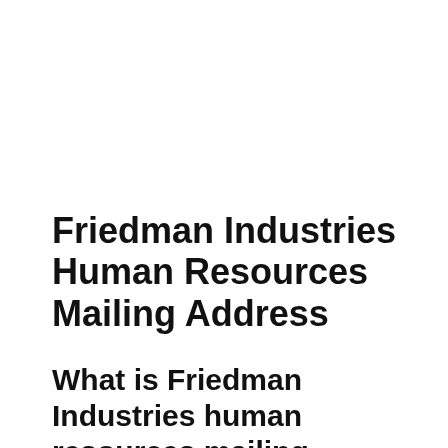Friedman Industries Human Resources Mailing Address
What is Friedman Industries human resources mailing address?